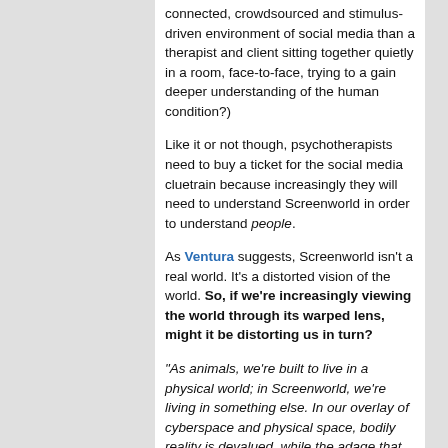connected, crowdsourced and stimulus-driven environment of social media than a therapist and client sitting together quietly in a room, face-to-face, trying to a gain deeper understanding of the human condition?)
Like it or not though, psychotherapists need to buy a ticket for the social media cluetrain because increasingly they will need to understand Screenworld in order to understand people.
As Ventura suggests, Screenworld isn't a real world. It's a distorted vision of the world. So, if we're increasingly viewing the world through its warped lens, might it be distorting us in turn?
“As animals, we’re built to live in a physical world; in Screenworld, we’re living in something else. In our overlay of cyberspace and physical space, bodily reality is devalued, while the adage that ‘the unexamined life is not worth living’ gets distorted in that there may be some...